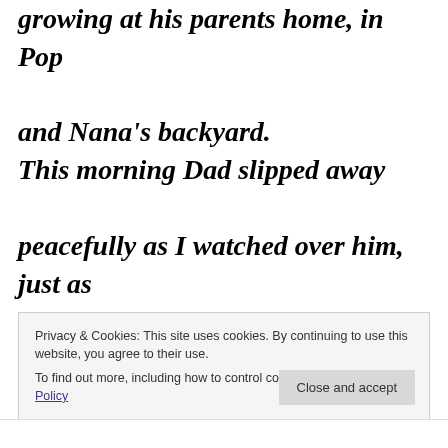growing at his parents home, in Pop and Nana's backyard.
This morning Dad slipped away peacefully as I watched over him, just as the first rays of light were piercing the
Privacy & Cookies: This site uses cookies. By continuing to use this website, you agree to their use.
To find out more, including how to control cookies, see here: Cookie Policy